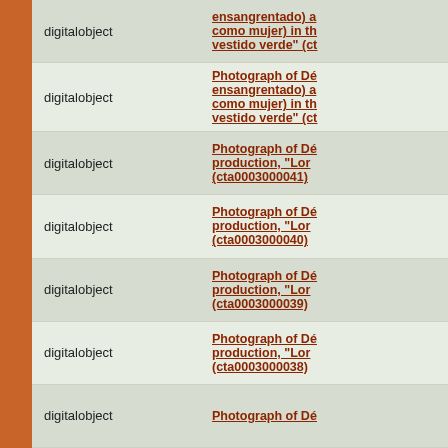| Type | Title |
| --- | --- |
| digitalobject | ensangrentado) a como mujer) in th vestido verde" (ct |
| digitalobject | Photograph of Dé ensangrentado) a como mujer) in th vestido verde" (ct |
| digitalobject | Photograph of Dé production, "Lor (cta0003000041) |
| digitalobject | Photograph of Dé production, "Lor (cta0003000040) |
| digitalobject | Photograph of Dé production, "Lor (cta0003000039) |
| digitalobject | Photograph of Dé production, "Lor (cta0003000038) |
| digitalobject | Photograph of Dé |